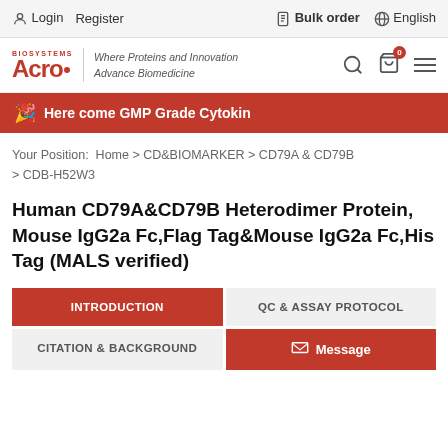Login  Register    Bulk order    English
[Figure (logo): ACROBiosystems logo with tagline 'Where Proteins and Innovation Advance Biomedicine']
Here come GMP Grade Cytokines
Your Position: Home > CD&BIOMARKER > CD79A & CD79B > CDB-H52W3
Human CD79A&CD79B Heterodimer Protein, Mouse IgG2a Fc,Flag Tag&Mouse IgG2a Fc,His Tag (MALS verified)
INTRODUCTION
QC & ASSAY PROTOCOL
CITATION & BACKGROUND
Message